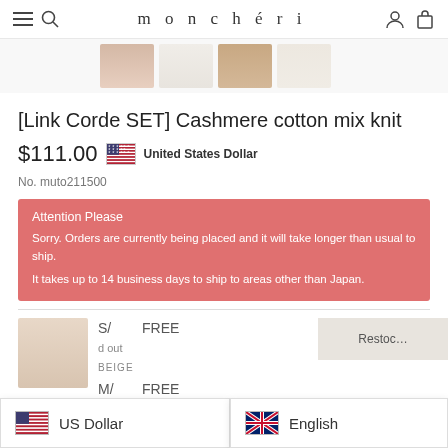monchéri
[Figure (photo): Four thumbnail images of clothing product in beige/neutral tones]
[Link Corde SET] Cashmere cotton mix knit
$111.00  United States Dollar
No. muto211500
Attention Please
Sorry. Orders are currently being placed and it will take longer than usual to ship.
It takes up to 14 business days to ship to areas other than Japan.
S/  FREE
d out
BEIGE
M/  FREE